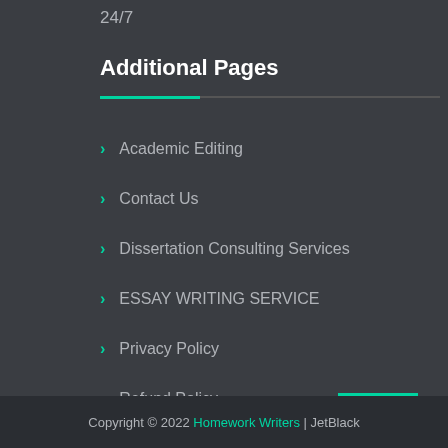24/7
Additional Pages
Academic Editing
Contact Us
Dissertation Consulting Services
ESSAY WRITING SERVICE
Privacy Policy
Refund Policy
Copyright © 2022 Homework Writers | JetBlack